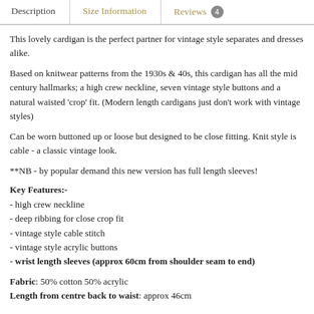Description | Size Information | Reviews 4
This lovely cardigan is the perfect partner for vintage style separates and dresses alike.
Based on knitwear patterns from the 1930s & 40s, this cardigan has all the mid century hallmarks; a high crew neckline, seven vintage style buttons and a natural waisted 'crop' fit. (Modern length cardigans just don't work with vintage styles)
Can be worn buttoned up or loose but designed to be close fitting. Knit style is cable - a classic vintage look.
**NB - by popular demand this new version has full length sleeves!
Key Features:-
- high crew neckline
- deep ribbing for close crop fit
- vintage style cable stitch
- vintage style acrylic buttons
- wrist length sleeves (approx 60cm from shoulder seam to end)
Fabric: 50% cotton 50% acrylic
Length from centre back to waist: approx 46cm